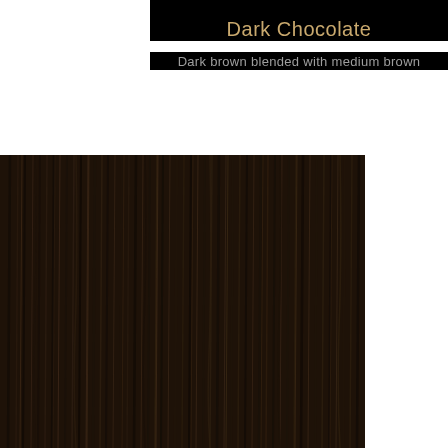Dark Chocolate
Dark brown blended with medium brown
[Figure (photo): Close-up photo of Dark Chocolate hair color swatch showing dark brown strands blended with medium brown highlights, straight hair texture viewed from above]